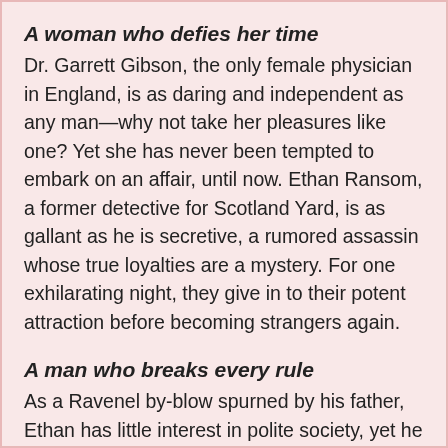A woman who defies her time
Dr. Garrett Gibson, the only female physician in England, is as daring and independent as any man—why not take her pleasures like one? Yet she has never been tempted to embark on an affair, until now. Ethan Ransom, a former detective for Scotland Yard, is as gallant as he is secretive, a rumored assassin whose true loyalties are a mystery. For one exhilarating night, they give in to their potent attraction before becoming strangers again.
A man who breaks every rule
As a Ravenel by-blow spurned by his father, Ethan has little interest in polite society, yet he is captivated by the bold and beautiful Garrett. Despite their vow to resist each other after that sublime night, she is soon drawn into his most dangerous assignment yet. When the mission goes wrong, it will take all of Garrett's skill and courage to save him. As they face